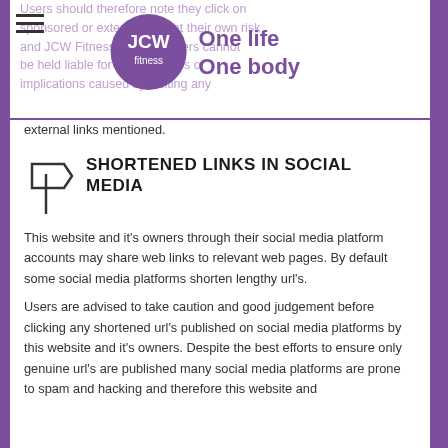JCW Fitness — One life One body
external links mentioned.
SHORTENED LINKS IN SOCIAL MEDIA
This website and it's owners through their social media platform accounts may share web links to relevant web pages. By default some social media platforms shorten lengthy url's.
Users are advised to take caution and good judgement before clicking any shortened url's published on social media platforms by this website and it's owners. Despite the best efforts to ensure only genuine url's are published many social media platforms are prone to spam and hacking and therefore this website and